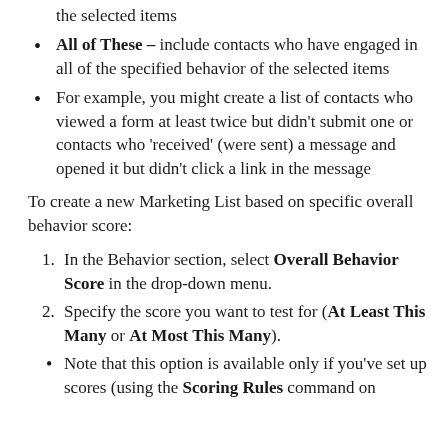the selected items
All of These – include contacts who have engaged in all of the specified behavior of the selected items
For example, you might create a list of contacts who viewed a form at least twice but didn't submit one or contacts who 'received' (were sent) a message and opened it but didn't click a link in the message
To create a new Marketing List based on specific overall behavior score:
1. In the Behavior section, select Overall Behavior Score in the drop-down menu.
2. Specify the score you want to test for (At Least This Many or At Most This Many).
Note that this option is available only if you've set up scores (using the Scoring Rules command on